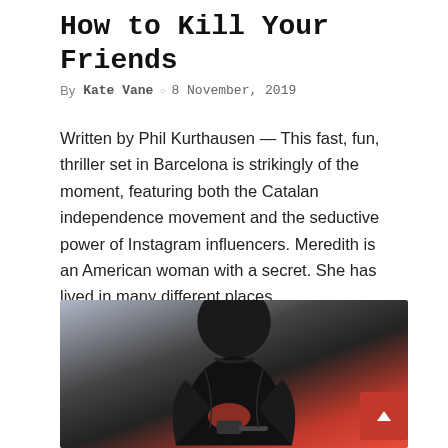How to Kill Your Friends
By Kate Vane ○ 8 November, 2019
Written by Phil Kurthausen — This fast, fun, thriller set in Barcelona is strikingly of the moment, featuring both the Catalan independence movement and the seductive power of Instagram influencers. Meredith is an American woman with a secret. She has lived in many different places…
[Figure (photo): A person in a dark leather jacket seen from behind, holding a gun, with a dramatic red and orange background.]